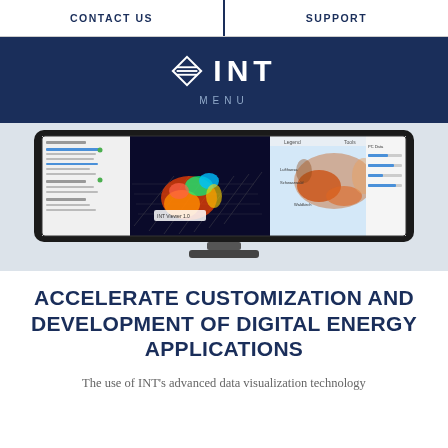CONTACT US | SUPPORT
INT — MENU
[Figure (screenshot): Computer monitor displaying INT software with 3D seismic visualization, map view, and control panels]
ACCELERATE CUSTOMIZATION AND DEVELOPMENT OF DIGITAL ENERGY APPLICATIONS
The use of INT's advanced data visualization technology